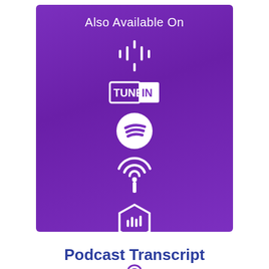[Figure (infographic): Purple gradient box with 'Also Available On' text and icons for Google Podcasts, TuneIn, Spotify, Overcast/podcast tower, Castbox, and iHeartRadio — all white on purple background]
Podcast Transcript